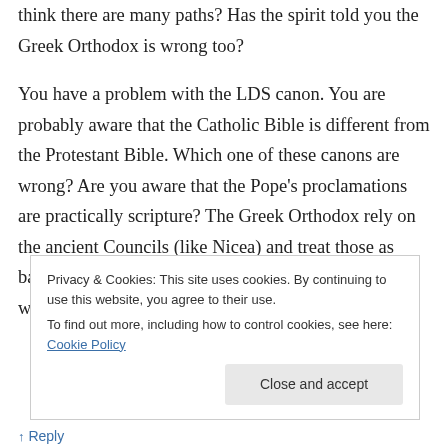think there are many paths? Has the spirit told you the Greek Orthodox is wrong too?
You have a problem with the LDS canon. You are probably aware that the Catholic Bible is different from the Protestant Bible. Which one of these canons are wrong? Are you aware that the Pope's proclamations are practically scripture? The Greek Orthodox rely on the ancient Councils (like Nicea) and treat those as basically scripture as well. Do you have a problem with this? Why is
Privacy & Cookies: This site uses cookies. By continuing to use this website, you agree to their use.
To find out more, including how to control cookies, see here: Cookie Policy